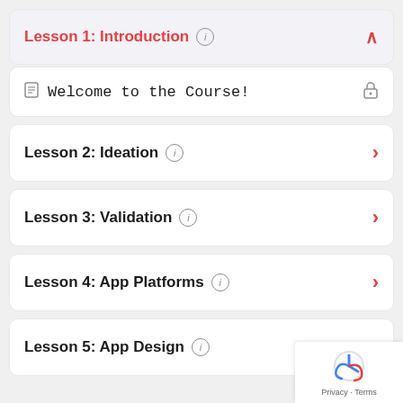Lesson 1: Introduction
Welcome to the Course!
Lesson 2: Ideation
Lesson 3: Validation
Lesson 4: App Platforms
Lesson 5: App Design